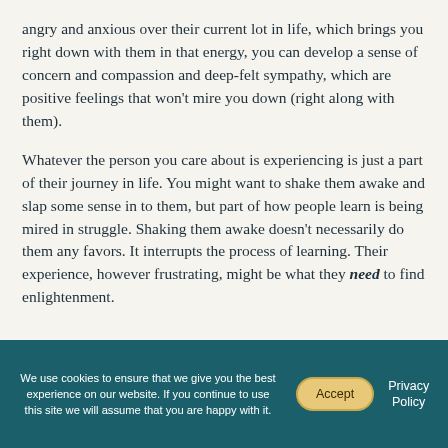angry and anxious over their current lot in life, which brings you right down with them in that energy, you can develop a sense of concern and compassion and deep-felt sympathy, which are positive feelings that won't mire you down (right along with them).
Whatever the person you care about is experiencing is just a part of their journey in life. You might want to shake them awake and slap some sense in to them, but part of how people learn is being mired in struggle. Shaking them awake doesn't necessarily do them any favors. It interrupts the process of learning. Their experience, however frustrating, might be what they need to find enlightenment.
We use cookies to ensure that we give you the best experience on our website. If you continue to use this site we will assume that you are happy with it.